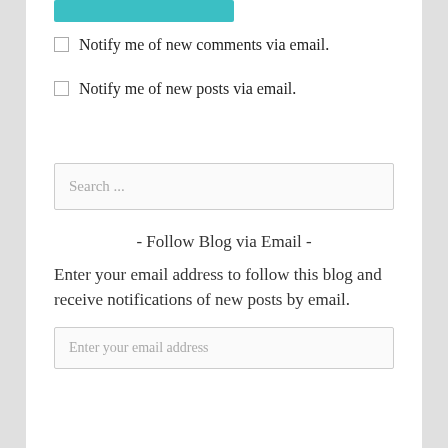[Figure (other): Teal/cyan button at top of page, partially cropped]
Notify me of new comments via email.
Notify me of new posts via email.
Search ...
- Follow Blog via Email -
Enter your email address to follow this blog and receive notifications of new posts by email.
Enter your email address